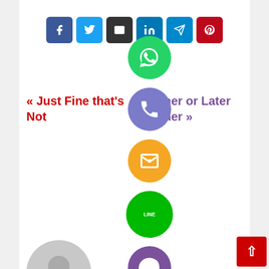[Figure (screenshot): Row of social share buttons: Facebook (blue), Twitter (light blue), Email (dark), LinkedIn (teal), Telegram (blue), Pinterest (red)]
[Figure (screenshot): Vertical column of floating social share circle icons: WhatsApp (green), Phone/Viber (purple-blue), Email (orange), LINE (green), Viber (purple), Plus/Add (green)]
« Just Fine that's Not
Sooner or Later Sooner »
[Figure (illustration): Gray circular avatar placeholder with silhouette person icon]
By mijanbokul
RELATED POST